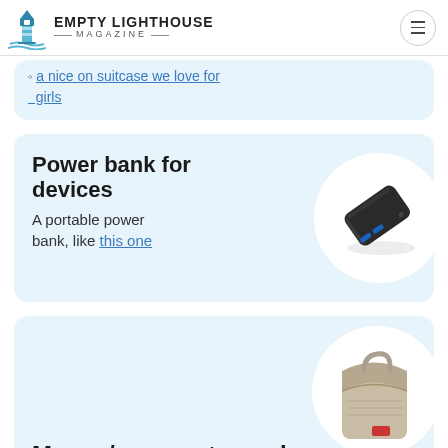Empty Lighthouse Magazine
a nice on suitcase we love for girls
Power bank for devices
A portable power bank, like this one
[Figure (photo): Black portable power bank device with USB ports]
[Figure (photo): Beige/tan money and passport travel pouch with strap]
Money/passport pouch